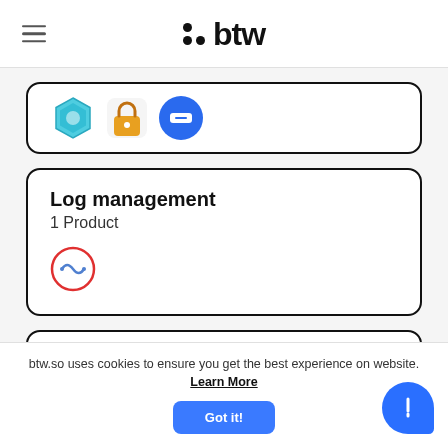btw
[Figure (screenshot): Partial card showing three app icons: a blue/teal hexagon icon, an orange lock icon, and a blue circle icon]
Log management
1 Product
[Figure (logo): Log management product icon: red circle with a waveform/pulse symbol inside]
Accounting
3 Products
[Figure (logo): Accounting product icons: green circle O icon, dark envelope icon, purple/blue C arc icon]
btw.so uses cookies to ensure you get the best experience on website. Learn More
Got it!